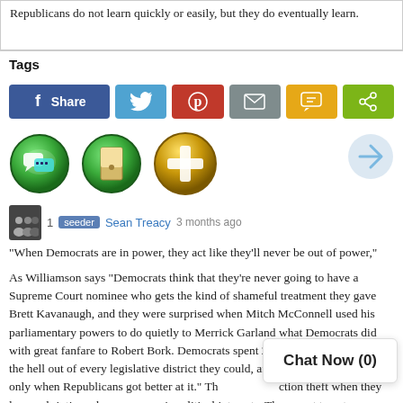Republicans do not learn quickly or easily, but they do eventually learn.
Tags
[Figure (infographic): Social share buttons: Facebook Share, Twitter, Pinterest, Email, SMS, Share]
[Figure (infographic): Three circular icons: green chat icon, green bookmark icon, gold plus/medical icon; and a grey arrow circle icon top right]
1  seeder  Sean Treacy  3 months ago
"When Democrats are in power, they act like they'll never be out of power,"
As Williamson says  "Democrats think that they're never going to have a Supreme Court nominee who gets the kind of shameful treatment they gave Brett Kavanaugh, and they were surprised when Mitch McConnell used his parliamentary powers to do quietly to Merrick Garland what Democrats did with great fanfare to Robert Bork. Democrats spent 200 years gerrymandering the hell out of every legislative district they could, and started complaining only when Republicans got better at it."  Th                                  ction theft when they lose and rioting when                               eir political interests.  They want to get ri                             but
Chat Now (0)